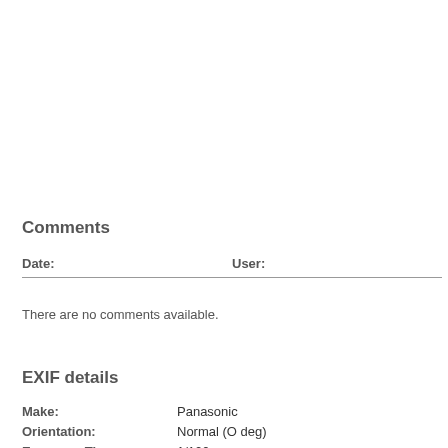Comments
| Date: | User: |
| --- | --- |
There are no comments available.
EXIF details
Make:    Panasonic
Orientation:    Normal (O deg)
Exposure Time:    1/100 sec
Date/Time:    2003.05.17 10:50:00